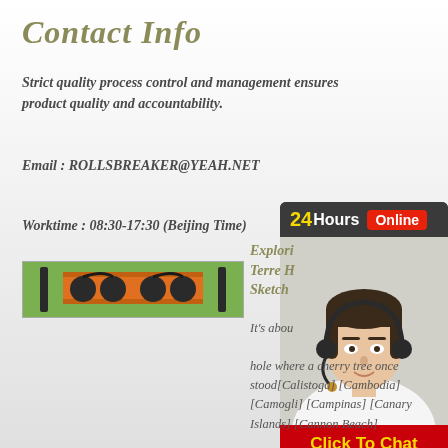Contact Info
Strict quality process control and management ensures product quality and accountability.
Email : ROLLSBREAKER@YEAH.NET
Worktime : 08:30-17:30 (Beijing Time)
[Figure (infographic): 24Hours Online chat widget with customer service representative photo and Click To Chat button]
[Figure (photo): Photo of industrial equipment/rolls breaker machinery]
Exploring Terre H Sketch It's about hole where a cherry tree once stood[Calistoga] [Cambodia] [Camogli] [Campinas] [Canary Islands] [Cannon Beach]